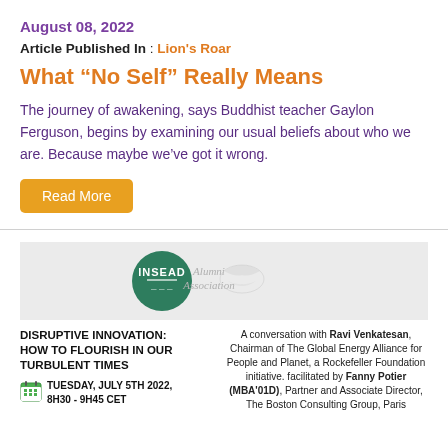August 08, 2022
Article Published In : Lion's Roar
What “No Self” Really Means
The journey of awakening, says Buddhist teacher Gaylon Ferguson, begins by examining our usual beliefs about who we are. Because maybe we’ve got it wrong.
Read More
[Figure (logo): INSEAD Alumni Association logo: green circle with INSEAD text and a decorative bird/eagle watermark]
DISRUPTIVE INNOVATION: HOW TO FLOURISH IN OUR TURBULENT TIMES
TUESDAY, JULY 5TH 2022, 8H30 - 9H45 CET
A conversation with Ravi Venkatesan, Chairman of The Global Energy Alliance for People and Planet, a Rockefeller Foundation initiative. facilitated by Fanny Potier (MBA'01D), Partner and Associate Director, The Boston Consulting Group, Paris